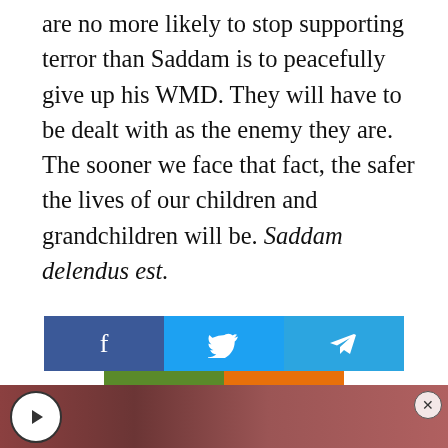are no more likely to stop supporting terror than Saddam is to peacefully give up his WMD. They will have to be dealt with as the enemy they are. The sooner we face that fact, the safer the lives of our children and grandchildren will be. Saddam delendus est.
[Figure (infographic): Social media sharing buttons: Facebook (blue), Twitter (light blue), Telegram (sky blue) in top row; Email (green) and Print (orange) in bottom row]
[Figure (screenshot): Video thumbnail with play button on left and close button on right, reddish-brown background image]